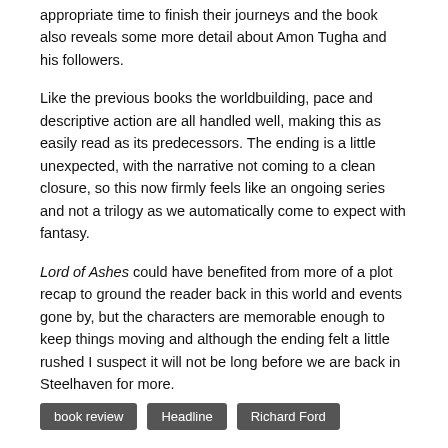appropriate time to finish their journeys and the book also reveals some more detail about Amon Tugha and his followers.
Like the previous books the worldbuilding, pace and descriptive action are all handled well, making this as easily read as its predecessors. The ending is a little unexpected, with the narrative not coming to a clean closure, so this now firmly feels like an ongoing series and not a trilogy as we automatically come to expect with fantasy.
Lord of Ashes could have benefited from more of a plot recap to ground the reader back in this world and events gone by, but the characters are memorable enough to keep things moving and although the ending felt a little rushed I suspect it will not be long before we are back in Steelhaven for more.
book review
Headline
Richard Ford